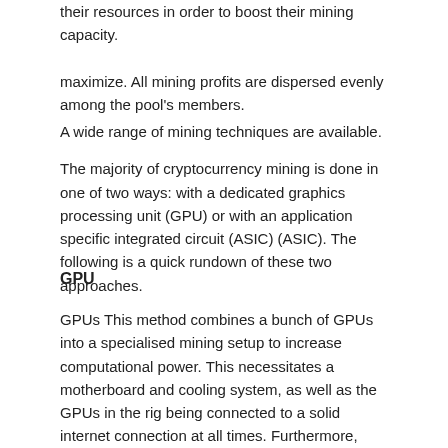their resources in order to boost their mining capacity.
maximize. All mining profits are dispersed evenly among the pool's members.
A wide range of mining techniques are available.
The majority of cryptocurrency mining is done in one of two ways: with a dedicated graphics processing unit (GPU) or with an application specific integrated circuit (ASIC) (ASIC). The following is a quick rundown of these two approaches.
GPU
GPUs This method combines a bunch of GPUs into a specialised mining setup to increase computational power. This necessitates a motherboard and cooling system, as well as the GPUs in the rig being connected to a solid internet connection at all times. Furthermore, every cryptocurrency miner must be a member of a cryptocurrency mining pool that operates online.